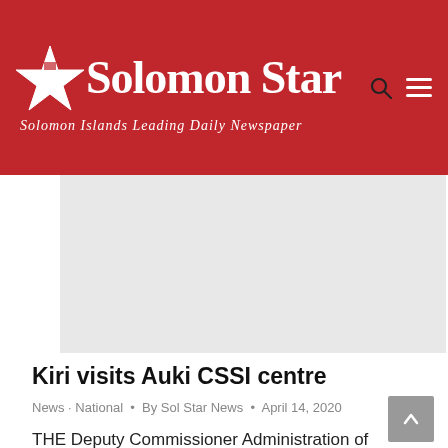Solomon Star — Solomon Islands Leading Daily Newspaper
[Figure (other): Advertisement placeholder area (grey box)]
Kiri visits Auki CSSI centre
News · National  •  By Sol Star News  •  April 14, 2020
THE Deputy Commissioner Administration of Correctional Service Solomon Islands (CSSI) Francis Kiri recently visited Auki Correctional Centre (ACC) for the first time since his appointment to the position. The visit was also